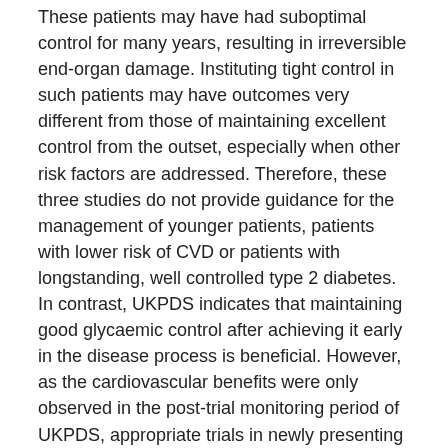These patients may have had suboptimal control for many years, resulting in irreversible end-organ damage. Instituting tight control in such patients may have outcomes very different from those of maintaining excellent control from the outset, especially when other risk factors are addressed. Therefore, these three studies do not provide guidance for the management of younger patients, patients with lower risk of CVD or patients with longstanding, well controlled type 2 diabetes. In contrast, UKPDS indicates that maintaining good glycaemic control after achieving it early in the disease process is beneficial. However, as the cardiovascular benefits were only observed in the post-trial monitoring period of UKPDS, appropriate trials in newly presenting young patients are much needed.
Other recent epidemiological and observational data